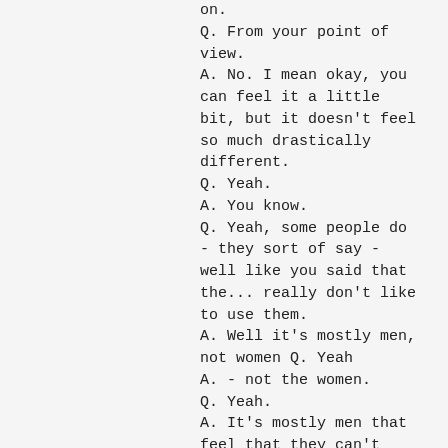on.
Q. From your point of view.
A. No. I mean okay, you can feel it a little bit, but it doesn't feel so much drastically different.
Q. Yeah.
A. You know.
Q. Yeah, some people do - they sort of say - well like you said that the... really don't like to use them.
A. Well it's mostly men, not women Q. Yeah
A. - not the women.
Q. Yeah.
A. It's mostly men that feel that they can't stand using it... whatever, but if women stood
up a bit more about it then it would be...